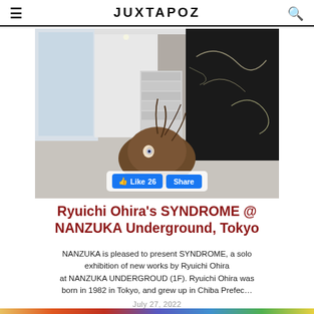JUXTAPOZ
[Figure (photo): Gallery installation photo showing a sculptural artwork resembling a distorted human head/figure lying on the floor against a large black chalk-marked canvas wall. White gallery space with storage shelving visible in the background.]
Like 26  Share
Ryuichi Ohira's SYNDROME @ NANZUKA Underground, Tokyo
NANZUKA is pleased to present SYNDROME, a solo exhibition of new works by Ryuichi Ohira at NANZUKA UNDERGROUD (1F). Ryuichi Ohira was born in 1982 in Tokyo, and grew up in Chiba Prefec…
July 27, 2022